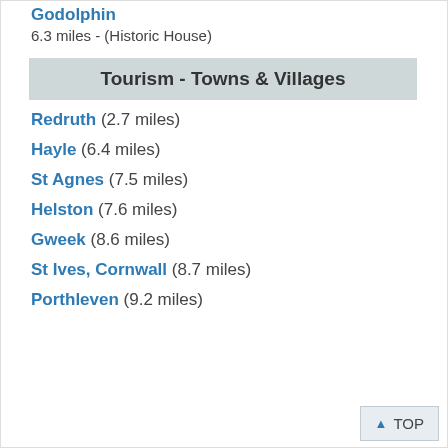Godolphin
6.3 miles - (Historic House)
Tourism - Towns & Villages
Redruth (2.7 miles)
Hayle (6.4 miles)
St Agnes (7.5 miles)
Helston (7.6 miles)
Gweek (8.6 miles)
St Ives, Cornwall (8.7 miles)
Porthleven (9.2 miles)